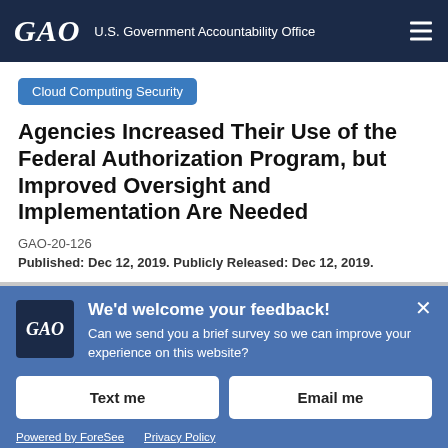GAO U.S. Government Accountability Office
Cloud Computing Security
Agencies Increased Their Use of the Federal Authorization Program, but Improved Oversight and Implementation Are Needed
GAO-20-126
Published: Dec 12, 2019. Publicly Released: Dec 12, 2019.
We'd welcome your feedback! Can we send you a brief survey so we can improve your experience on this website?
Text me
Email me
Powered by ForeSee   Privacy Policy